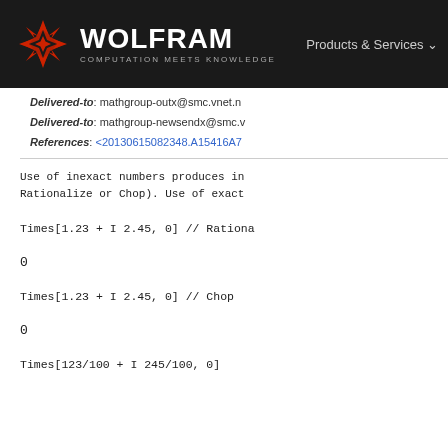WOLFRAM COMPUTATION MEETS KNOWLEDGE — Products & Services
Delivered-to: mathgroup-outx@smc.vnet.n
Delivered-to: mathgroup-newsendx@smc.v
References: <20130615082348.A15416A7
Use of inexact numbers produces in Rationalize or Chop). Use of exact
Times[1.23 + I 2.45, 0] // Rationa
0
Times[1.23 + I 2.45, 0] // Chop
0
Times[123/100 + I 245/100, 0]